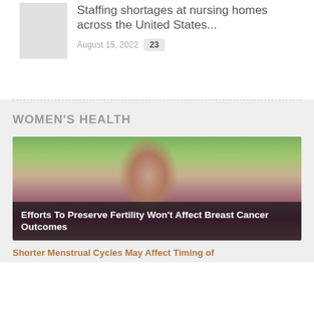Staffing shortages at nursing homes across the United States...
August 15, 2022  23
WOMEN'S HEALTH
[Figure (photo): Woman in red/magenta top looking down, with greenery in background. Article image for fertility and breast cancer article.]
Efforts To Preserve Fertility Won't Affect Breast Cancer Outcomes
Shorter Menstrual Cycles May Affect Timing of